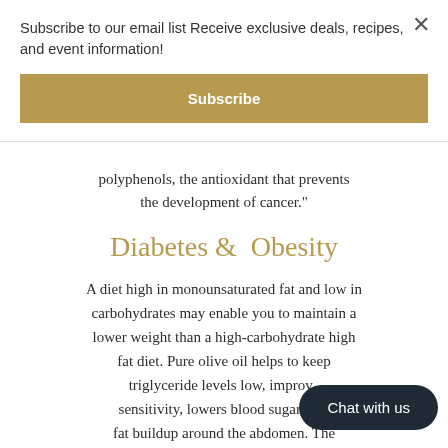Subscribe to our email list Receive exclusive deals, recipes, and event information!
Subscribe
polyphenols, the antioxidant that prevents the development of cancer."
Diabetes & Obesity
A diet high in monounsaturated fat and low in carbohydrates may enable you to maintain a lower weight than a high-carbohydrate high fat diet. Pure olive oil helps to keep triglyceride levels low, improve sensitivity, lowers blood sugar, and fat buildup around the abdomen. The
Chat with us